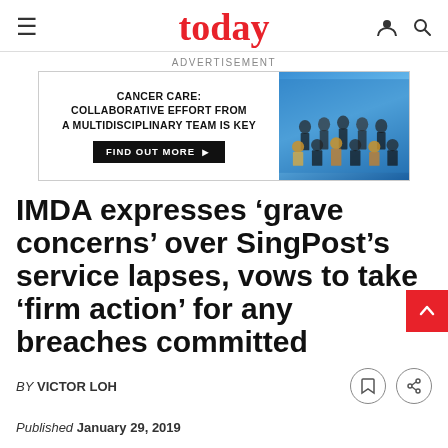today
ADVERTISEMENT
[Figure (photo): Advertisement banner for Cancer Care: Collaborative Effort From A Multidisciplinary Team Is Key, with a group photo of medical professionals and a 'Find Out More' button.]
IMDA expresses 'grave concerns' over SingPost's service lapses, vows to take 'firm action' for any breaches committed
BY VICTOR LOH
Published January 29, 2019
Updated September 24, 2019